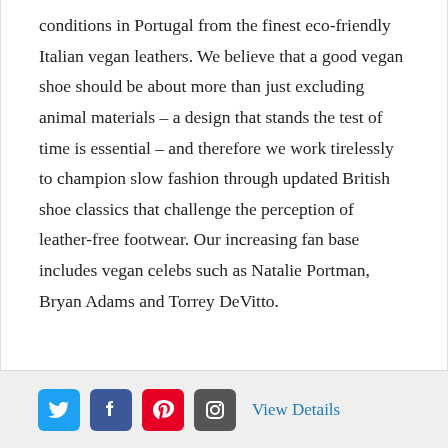conditions in Portugal from the finest eco-friendly Italian vegan leathers. We believe that a good vegan shoe should be about more than just excluding animal materials – a design that stands the test of time is essential – and therefore we work tirelessly to champion slow fashion through updated British shoe classics that challenge the perception of leather-free footwear. Our increasing fan base includes vegan celebs such as Natalie Portman, Bryan Adams and Torrey DeVitto.
[Figure (infographic): Social media icons (Twitter, Facebook, Pinterest, Instagram) and a 'View Details' link in a grey footer bar]